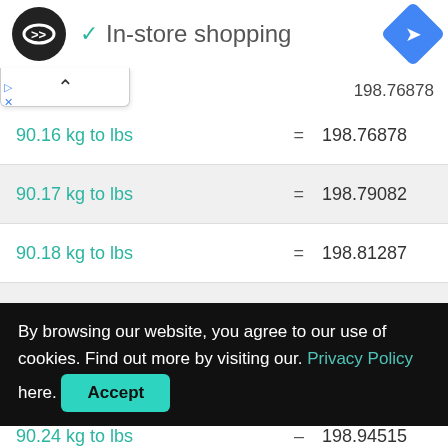In-store shopping
| Conversion | = | Value |
| --- | --- | --- |
| 90.16 kg to lbs | = | 198.76878 |
| 90.17 kg to lbs | = | 198.79082 |
| 90.18 kg to lbs | = | 198.81287 |
| 90.19 kg to lbs | = | 198.83491 |
| 90.2 kg to lbs | = | 198.85696 |
| 90.24 kg to lbs | = | 198.94515 |
By browsing our website, you agree to our use of cookies. Find out more by visiting our. Privacy Policy here.